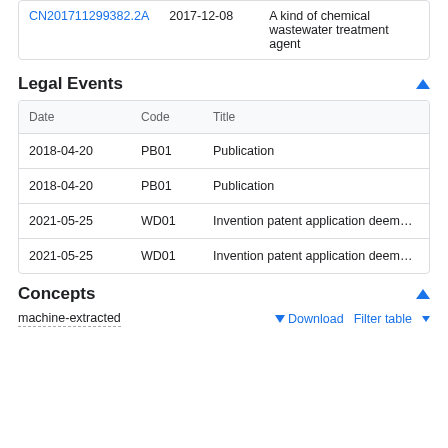|  | Date | Title |
| --- | --- | --- |
| CN201711299382.2A | 2017-12-08 | A kind of chemical wastewater treatment agent |
Legal Events
| Date | Code | Title |
| --- | --- | --- |
| 2018-04-20 | PB01 | Publication |
| 2018-04-20 | PB01 | Publication |
| 2021-05-25 | WD01 | Invention patent application deemed withdra |
| 2021-05-25 | WD01 | Invention patent application deemed withdra |
Concepts
machine-extracted